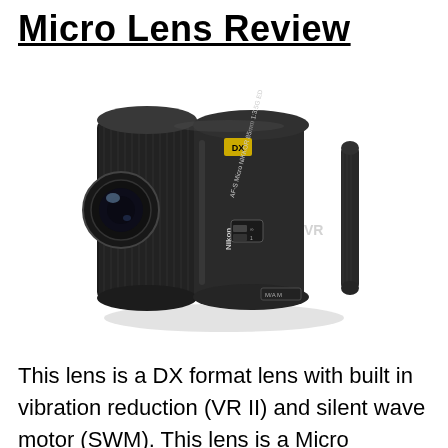Micro Lens Review
[Figure (photo): A Nikon AF-S Micro NIKKOR 85mm f/3.5G ED VR DX lens, black, shown at a slight angle revealing the front element, focus ring, and lens barrel markings including DX, VR, and Nikon branding.]
This lens is a DX format lens with built in vibration reduction (VR II) and silent wave motor (SWM). This lens is a Micro (Macro) lens designed foe close up work, with a focal length